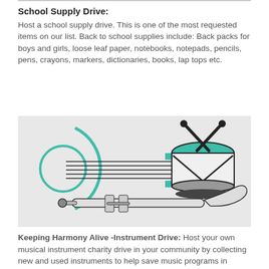School Supply Drive:
Host a school supply drive. This is one of the most requested items on our list. Back to school supplies include: Back packs for boys and girls, loose leaf paper, notebooks, notepads, pencils, pens, crayons, markers, dictionaries, books, lap tops etc.
[Figure (illustration): Illustration of musical instruments on a grey background: a guitar (outline with teal circular detail), a drum with crossed drumsticks (teal top, dark body with X pattern), and a trombone below.]
Keeping Harmony Alive -Instrument Drive:
Host your own musical instrument charity drive in your community by collecting new and used instruments to help save music programs in schools located in